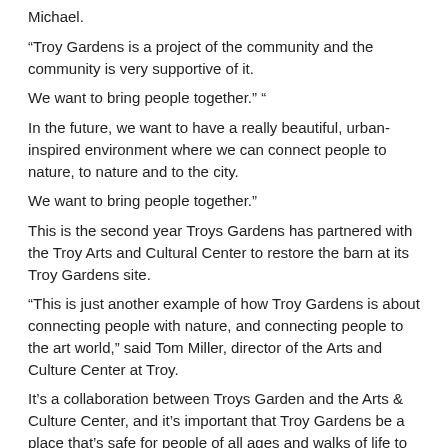Michael.
“Troy Gardens is a project of the community and the community is very supportive of it.
We want to bring people together.” “
In the future, we want to have a really beautiful, urban-inspired environment where we can connect people to nature, to nature and to the city.
We want to bring people together.”
This is the second year Troys Gardens has partnered with the Troy Arts and Cultural Center to restore the barn at its Troy Gardens site.
“This is just another example of how Troy Gardens is about connecting people with nature, and connecting people to the art world,” said Tom Miller, director of the Arts and Culture Center at Troy.
It’s a collaboration between Troys Garden and the Arts & Culture Center, and it’s important that Troy Gardens be a place that’s safe for people of all ages and walks of life to come to.
“As the arts & culture community grows, we’re seeing an increasing amount of people who are not necessarily arts-lovers, but are also artists,” said Miller.
“That’s something we hope to continue to explore and encourage and support.”